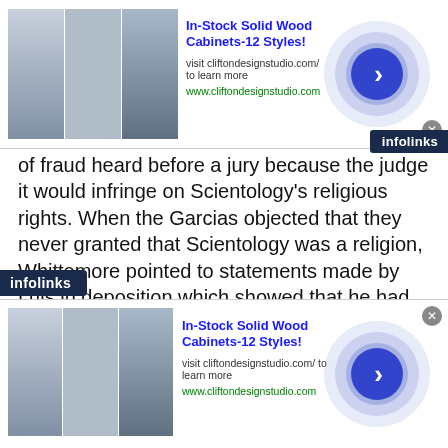[Figure (screenshot): Advertisement banner at top: 'In-Stock Solid Wood Cabinets-12 Styles!' with image of cabinets, url cliftondesignstudio.com, arrow button, infolinks badge]
of fraud heard before a jury because the judge it would infringe on Scientology's religious rights. When the Garcias objected that they never granted that Scientology was a religion, Whittemore pointed to statements made by Luis in deposition which showed that he had, at one time, considered Scientology a religion. Statements like that matter, and Scientology knows it. So it wants a new member on the record — this is church, not self-help.
[Figure (screenshot): Advertisement banner at bottom: 'In-Stock Solid Wood Cabinets-12 Styles!' with image of cabinets, url cliftondesignstudio.com, arrow button, infolinks badge]